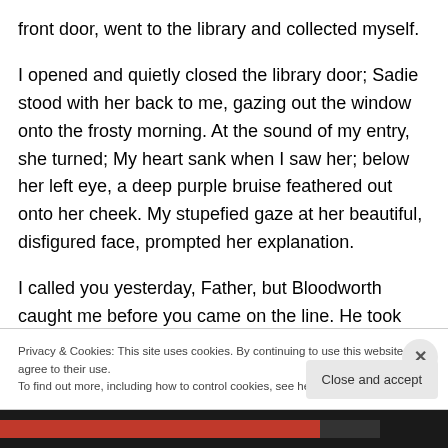front door, went to the library and collected myself.
I opened and quietly closed the library door; Sadie stood with her back to me, gazing out the window onto the frosty morning. At the sound of my entry, she turned; My heart sank when I saw her; below her left eye, a deep purple bruise feathered out onto her cheek. My stupefied gaze at her beautiful, disfigured face, prompted her explanation.
I called you yesterday, Father, but Bloodworth caught me before you came on the line. He took me to my room and
Privacy & Cookies: This site uses cookies. By continuing to use this website, you agree to their use.
To find out more, including how to control cookies, see here: Cookie Policy